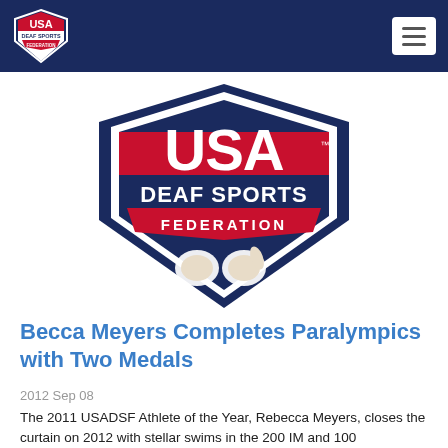[Figure (logo): USA Deaf Sports Federation logo — small version in navy header bar]
[Figure (logo): USA Deaf Sports Federation large logo with shield, red USA text, white DEAF SPORTS text, red FEDERATION banner, and signing hands graphic]
Becca Meyers Completes Paralympics with Two Medals
2012 Sep 08
The 2011 USADSF Athlete of the Year, Rebecca Meyers, closes the curtain on 2012 with stellar swims in the 200 IM and 100 breaststroke.